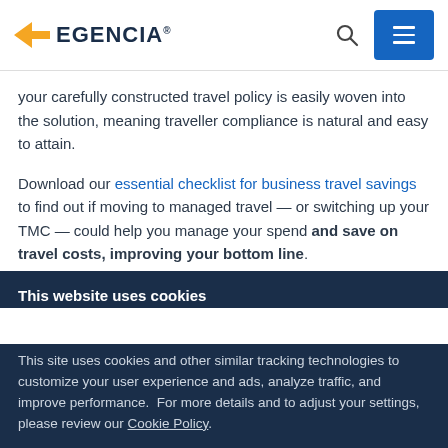EGENCIA
your carefully constructed travel policy is easily woven into the solution, meaning traveller compliance is natural and easy to attain.
Download our essential checklist for business travel savings to find out if moving to managed travel — or switching up your TMC — could help you manage your spend and save on travel costs, improving your bottom line.
This website uses cookies
This site uses cookies and other similar tracking technologies to customize your user experience and ads, analyze traffic, and improve performance.  For more details and to adjust your settings, please review our Cookie Policy.